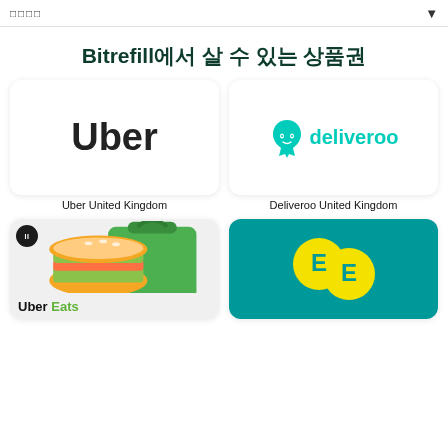□□□□
Bitrefill에서 살 수 있는 상품권
[Figure (logo): Uber logo white card]
Uber United Kingdom
[Figure (logo): Deliveroo logo white card]
Deliveroo United Kingdom
[Figure (logo): Uber Eats logo on gray card with shopping bag and burger illustration]
[Figure (logo): EE logo on teal background card]